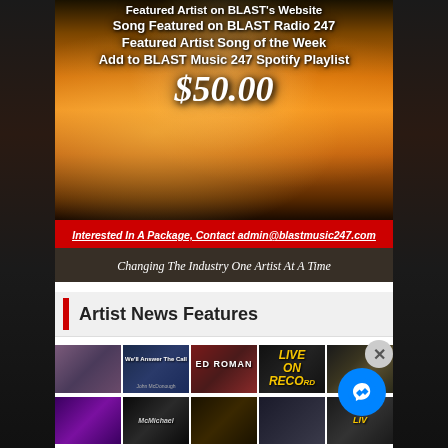[Figure (infographic): Promotional banner for BLAST Music 247 package featuring fiery cloud background, listing benefits: Featured Artist on BLAST's website, Song Featured on BLAST Radio 247, Featured Artist Song of the Week, Add to BLAST Music 247 Spotify Playlist, price $50.00, red contact bar, tagline]
Interested In A Package, Contact admin@blastmusic247.com
Changing The Industry One Artist At A Time
Artist News Features
[Figure (photo): Grid of artist thumbnail images for Artist News Features section]
Advertisements
[Figure (infographic): Seamless food delivery advertisement with pizza image, seamless brand name and ORDER NOW button]